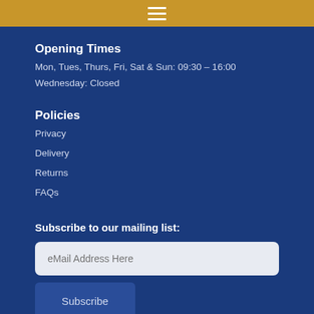Navigation menu (hamburger icon)
Opening Times
Mon, Tues, Thurs, Fri, Sat & Sun: 09:30 – 16:00
Wednesday: Closed
Policies
Privacy
Delivery
Returns
FAQs
Subscribe to our mailing list:
eMail Address Here
Subscribe